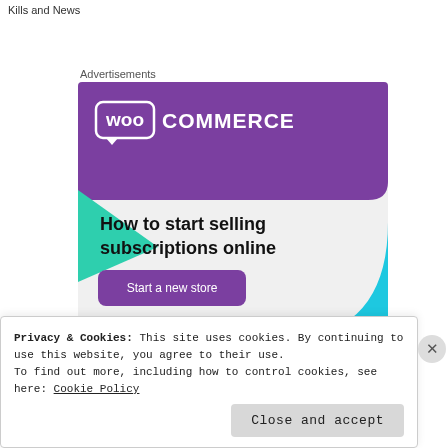Kills and News
Advertisements
[Figure (screenshot): WooCommerce advertisement banner showing 'How to start selling subscriptions online' with a purple header, WooCommerce logo, green triangle decoration, blue arc decoration, and 'Start a new store' CTA button]
Privacy & Cookies: This site uses cookies. By continuing to use this website, you agree to their use.
To find out more, including how to control cookies, see here: Cookie Policy
Close and accept